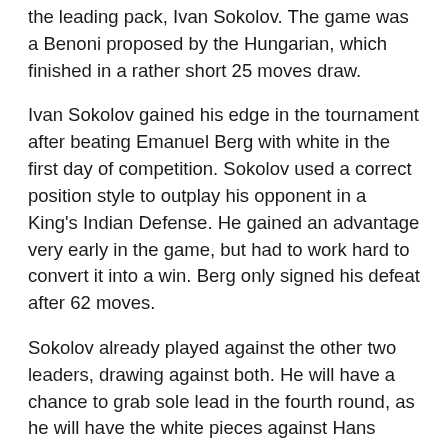the leading pack, Ivan Sokolov. The game was a Benoni proposed by the Hungarian, which finished in a rather short 25 moves draw.
Ivan Sokolov gained his edge in the tournament after beating Emanuel Berg with white in the first day of competition. Sokolov used a correct position style to outplay his opponent in a King's Indian Defense. He gained an advantage very early in the game, but had to work hard to convert it into a win. Berg only signed his defeat after 62 moves.
Sokolov already played against the other two leaders, drawing against both. He will have a chance to grab sole lead in the fourth round, as he will have the white pieces against Hans Tikkanen, who lost his last game with white.
Dutch GM Loek Van Wely was the last one to join the leading pack, his game with black and he...